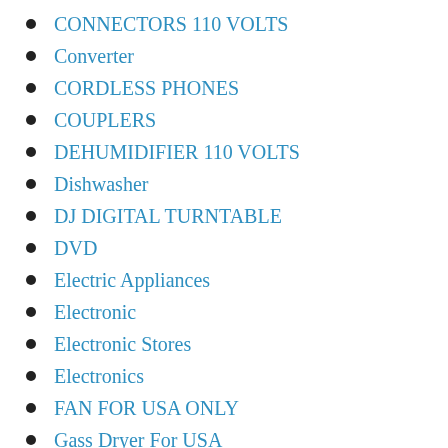CONNECTORS 110 VOLTS
Converter
CORDLESS PHONES
COUPLERS
DEHUMIDIFIER 110 VOLTS
Dishwasher
DJ DIGITAL TURNTABLE
DVD
Electric Appliances
Electronic
Electronic Stores
Electronics
FAN FOR USA ONLY
Gass Dryer For USA
GSM Unlocked Cell Phones
HANDY STEAMER